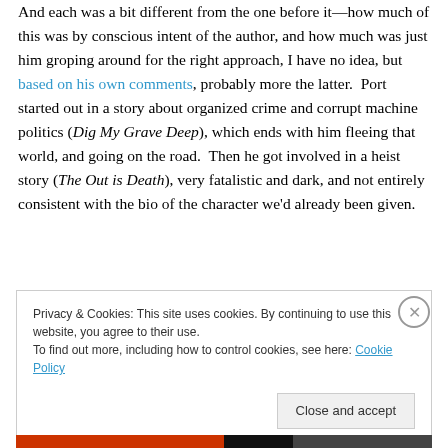And each was a bit different from the one before it—how much of this was by conscious intent of the author, and how much was just him groping around for the right approach, I have no idea, but based on his own comments, probably more the latter.  Port started out in a story about organized crime and corrupt machine politics (Dig My Grave Deep), which ends with him fleeing that world, and going on the road.  Then he got involved in a heist story (The Out is Death), very fatalistic and dark, and not entirely consistent with the bio of the character we'd already been given.
Privacy & Cookies: This site uses cookies. By continuing to use this website, you agree to their use.
To find out more, including how to control cookies, see here: Cookie Policy